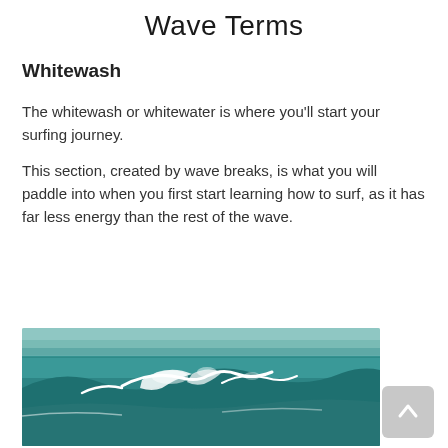Wave Terms
Whitewash
The whitewash or whitewater is where you'll start your surfing journey.
This section, created by wave breaks, is what you will paddle into when you first start learning how to surf, as it has far less energy than the rest of the wave.
[Figure (photo): Ocean waves with whitewash/whitewater visible, teal-blue water with white foam cresting.]